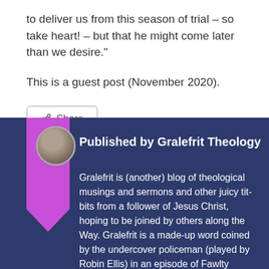to deliver us from this season of trial – so take heart! – but that he might come later than we desire."
This is a guest post (November 2020).
[Figure (other): Share button with share icon]
[Figure (other): Author bio section with purple bookmark ribbon, circular avatar photo, and dark navy background]
Published by Gralefrit Theology
Gralefrit is (another) blog of theological musings and sermons and other juicy titbits from a follower of Jesus Christ, hoping to be joined by others along the Way. Gralefrit is a made-up word coined by the undercover policeman (played by Robin Ellis) in an episode of Fawlty Towers (A Touch of Class) who, when ordering